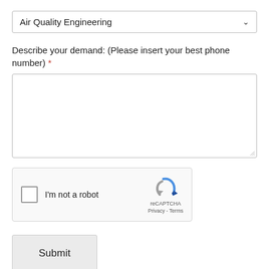[Figure (screenshot): Dropdown field showing 'Air Quality Engineering' with a chevron/arrow on the right]
Describe your demand: (Please insert your best phone number) *
[Figure (screenshot): Empty textarea input box with resize handle in bottom-right corner]
[Figure (screenshot): Google reCAPTCHA widget with checkbox labeled 'I'm not a robot', reCAPTCHA logo, Privacy and Terms links]
[Figure (screenshot): Submit button with light gray background]